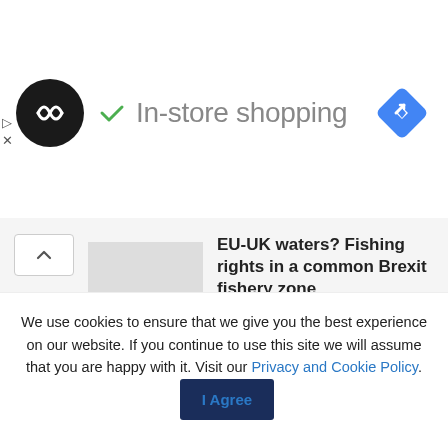[Figure (logo): Dark circular logo with double arrow/infinity icon, checkmark icon with 'In-store shopping' text, and blue diamond navigation icon on right]
EU-UK waters? Fishing rights in a common Brexit fishery zone
BY EUDEBATES TEAM  17/10/2020  0
We use cookies to ensure that we give you the best experience on our website. If you continue to use this site we will assume that you are happy with it. Visit our Privacy and Cookie Policy.
I Agree